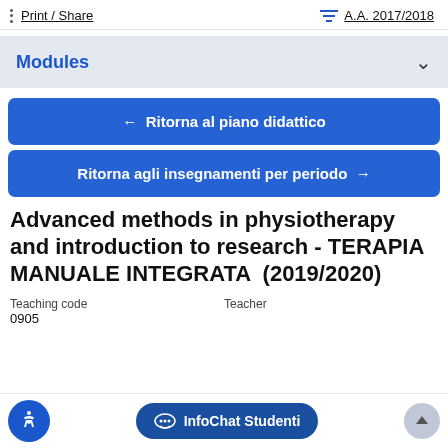Print / Share   A.A. 2017/2018
Modules
← Ritorna al piano didattico
Ritorna agli insegnamenti per periodo →
Advanced methods in physiotherapy and introduction to research - TERAPIA MANUALE INTEGRATA (2019/2020)
Teaching code
0905
Teacher
InfoChat Studenti